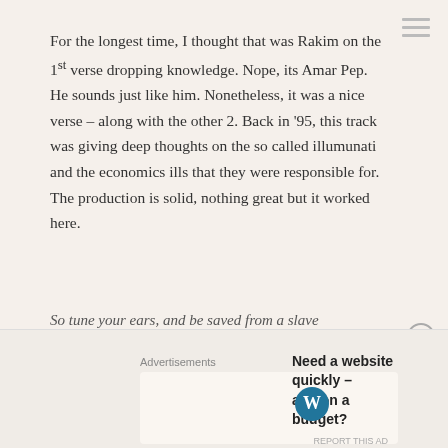For the longest time, I thought that was Rakim on the 1st verse dropping knowledge. Nope, its Amar Pep. He sounds just like him. Nonetheless, it was a nice verse – along with the other 2. Back in '95, this track was giving deep thoughts on the so called illumunati and the economics ills that they were responsible for. The production is solid, nothing great but it worked here.
So tune your ears, and be saved from a slave
Cos in a matter of days I'mma E-Q your brainwaves
AZ the Visualiza is wise as Elijah
Here to advise ya, and bring out the realness that's up inside ya
Intoxication, my voicebow rocks the nation
Advertisements
Need a website quickly – and on a budget?